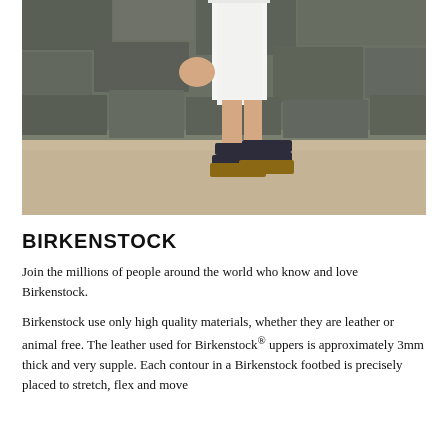[Figure (photo): A person wearing white cropped trousers and dark navy Birkenstock Arizona sandals, seated on a stone wall outdoors. The sandals have two adjustable buckle straps and a cork/leather footbed. The background shows a rough stone wall and sandy ground.]
BIRKENSTOCK
Join the millions of people around the world who know and love Birkenstock.
Birkenstock use only high quality materials, whether they are leather or animal free. The leather used for Birkenstock® uppers is approximately 3mm thick and very supple. Each contour in a Birkenstock footbed is precisely placed to stretch, flex and move